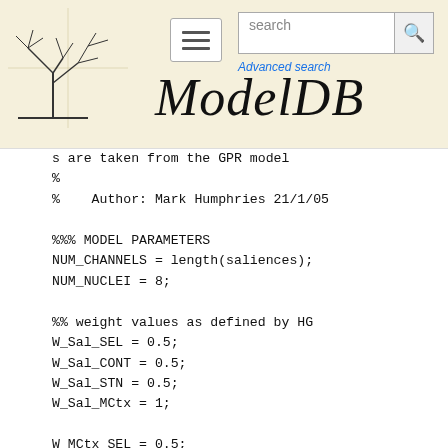ModelDB — Advanced search
s are taken from the GPR model
%
%    Author: Mark Humphries 21/1/05

%%% MODEL PARAMETERS
NUM_CHANNELS = length(saliences);
NUM_NUCLEI = 8;

%% weight values as defined by HG
W_Sal_SEL = 0.5;
W_Sal_CONT = 0.5;
W_Sal_STN = 0.5;
W_Sal_MCtx = 1;

W_MCtx_SEL = 0.5;
W_MCtx_CONT = 0.5;
W_MCtx_STN  = 0.5;
W_MCtx_VL = 1;
W_MCtx_TRN = 1;

W_MCtx_...